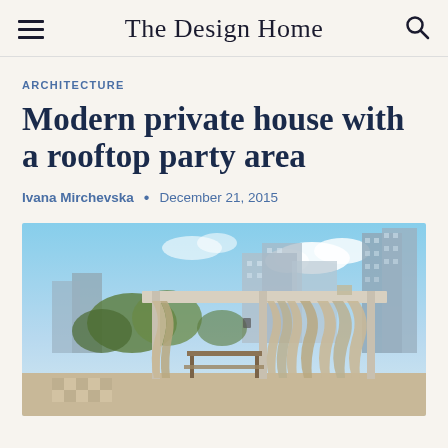The Design Home
ARCHITECTURE
Modern private house with a rooftop party area
Ivana Mirchevska • December 21, 2015
[Figure (photo): Rooftop party area of a modern private house with a pergola structure featuring linen drapes, an outdoor dining table, and a city skyline with tall buildings in the background under a partly cloudy sky.]